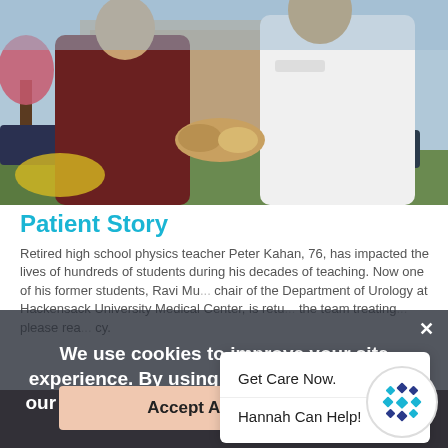[Figure (photo): Two people shaking hands outdoors near a medical building. Person on left wearing dark maroon fleece jacket, person on right wearing white doctor coat with medical center logo.]
Patient Story
Retired high school physics teacher Peter Kahan, 76, has impacted the lives of hundreds of students during his decades of teaching. Now one of his former students, Ravi Mu... chair of the Department of Urology at Hackensack University Medical Center, is retu... the team treating... please rea... cy.
We use cookies to improve your site experience. By using this site, you agree to our Terms & Conditions. Also, please read...
Get Care Now.
Hannah Can Help!
Accept All Cookies